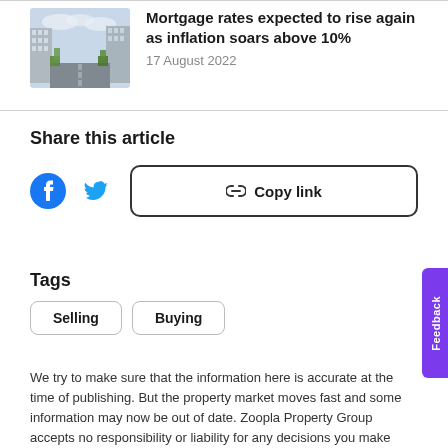[Figure (photo): Street view of modern apartment buildings with trees along a road]
Mortgage rates expected to rise again as inflation soars above 10%
17 August 2022
Share this article
[Figure (logo): Facebook icon (blue circle with white F)]
[Figure (logo): Twitter icon (blue bird)]
Copy link
Tags
Selling
Buying
We try to make sure that the information here is accurate at the time of publishing. But the property market moves fast and some information may now be out of date. Zoopla Property Group accepts no responsibility or liability for any decisions you make